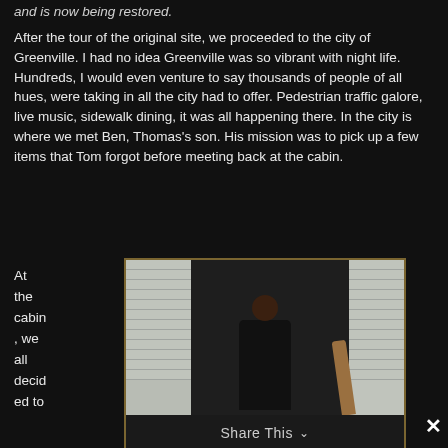and is now being restored.
After the tour of the original site, we proceeded to the city of Greenville. I had no idea Greenville was so vibrant with night life. Hundreds, I would even venture to say thousands of people of all hues, were taking in all the city had to offer. Pedestrian traffic galore, live music, sidewalk dining, it was all happening there. In the city is where we met Ben, Thomas's son. His mission was to pick up a few items that Tom forgot before meeting back at the cabin.
At the cabin, we all decided to
[Figure (photo): Photo of a person standing in a doorway of a building with white horizontal siding on either side. A wooden handrail is visible to the right. The person is wearing a dark shirt.]
Share This ∨